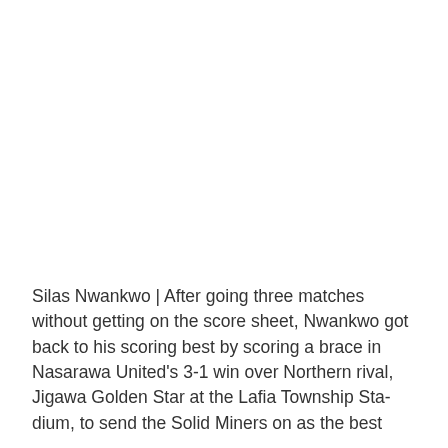Silas Nwankwo | After going three matches without getting on the score sheet, Nwankwo got back to his scoring best by scoring a brace in Nasarawa United's 3-1 win over Northern rival, Jigawa Golden Star at the Lafia Township Stadium, to send the Solid Miners on as the best...